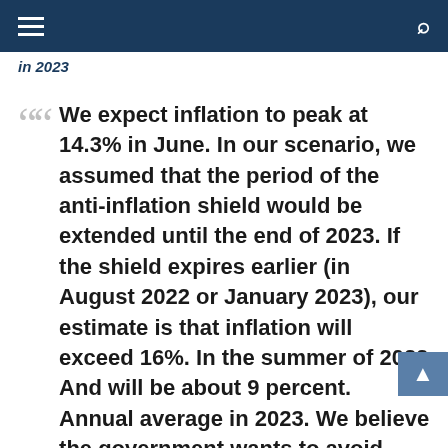in 2023
We expect inflation to peak at 14.3% in June. In our scenario, we assumed that the period of the anti-inflation shield would be extended until the end of 2023. If the shield expires earlier (in August 2022 or January 2023), our estimate is that inflation will exceed 16%. In the summer of 2022 And will be about 9 percent. Annual average in 2023. We believe the government wants to avoid creating such a situation in view of the planned parliamentary elections in 2023 – we read in a recent report by the